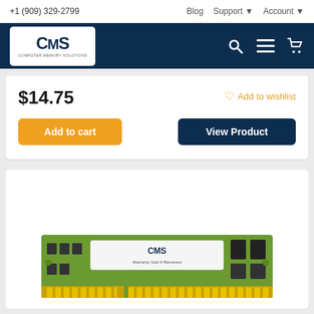+1 (909) 329-2799   Blog   Support   Account
[Figure (logo): CMS Computer Memory Solutions logo in white box on dark navy navigation bar, with search icon, hamburger menu, and cart icon]
$14.75
Add to wishlist
Add to cart
View Product
[Figure (photo): CMS branded green DDR3 RAM memory stick with label reading CMS and Warranty Void If Removed]